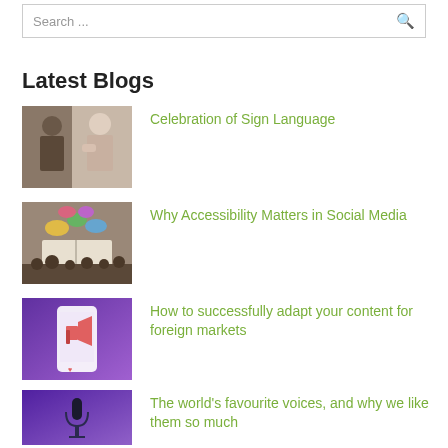Search ...
Latest Blogs
[Figure (photo): Two people communicating using sign language]
Celebration of Sign Language
[Figure (photo): Book with colorful speech bubbles and social media icons floating above it]
Why Accessibility Matters in Social Media
[Figure (photo): Purple background with a mobile phone showing a megaphone/speaker icon]
How to successfully adapt your content for foreign markets
[Figure (photo): Purple background with a microphone on a stand]
The world's favourite voices, and why we like them so much